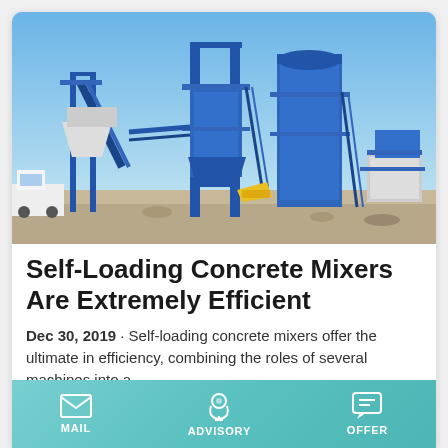[Figure (photo): Industrial asphalt/concrete mixing plant with large blue steel structures, conveyor belts, silos, and a control building on a dusty construction site under a clear blue sky. A white truck is visible on the left side.]
Self-Loading Concrete Mixers Are Extremely Efficient
Dec 30, 2019 · Self-loading concrete mixers offer the ultimate in efficiency, combining the roles of several machines into a
[Figure (infographic): Bottom navigation bar with teal/aqua gradient background containing three icons and labels: MAIL (envelope icon), ADVISORY (headset/person icon), OFFER (chat bubble icon)]